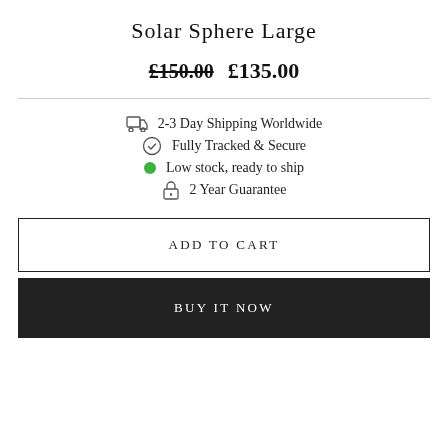Solar Sphere Large
£150.00  £135.00
2-3 Day Shipping Worldwide
Fully Tracked & Secure
Low stock, ready to ship
2 Year Guarantee
ADD TO CART
BUY IT NOW